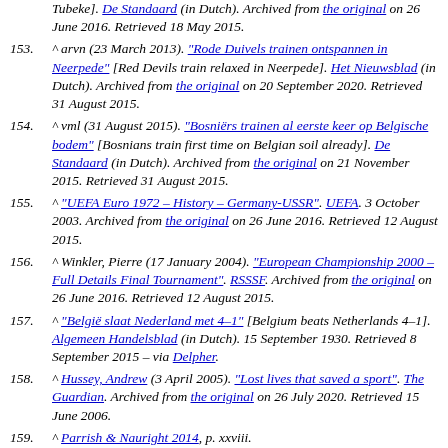(partial) Tubeke]. De Standaard (in Dutch). Archived from the original on 26 June 2016. Retrieved 18 May 2015.
153. ^ arvn (23 March 2013). "Rode Duivels trainen ontspannen in Neerpede" [Red Devils train relaxed in Neerpede]. Het Nieuwsblad (in Dutch). Archived from the original on 20 September 2020. Retrieved 31 August 2015.
154. ^ vml (31 August 2015). "Bosniërs trainen al eerste keer op Belgische bodem" [Bosnians train first time on Belgian soil already]. De Standaard (in Dutch). Archived from the original on 21 November 2015. Retrieved 31 August 2015.
155. ^ "UEFA Euro 1972 – History – Germany-USSR". UEFA. 3 October 2003. Archived from the original on 26 June 2016. Retrieved 12 August 2015.
156. ^ Winkler, Pierre (17 January 2004). "European Championship 2000 – Full Details Final Tournament". RSSSF. Archived from the original on 26 June 2016. Retrieved 12 August 2015.
157. ^ "België slaat Nederland met 4–1" [Belgium beats Netherlands 4–1]. Algemeen Handelsblad (in Dutch). 15 September 1930. Retrieved 8 September 2015 – via Delpher.
158. ^ Hussey, Andrew (3 April 2005). "Lost lives that saved a sport". The Guardian. Archived from the original on 26 July 2020. Retrieved 15 June 2006.
159. ^ Parrish & Nauright 2014, p. xxviii.
160. ^ "Heyzel-stadion wordt gesloopt" [Heyzel stadium to be